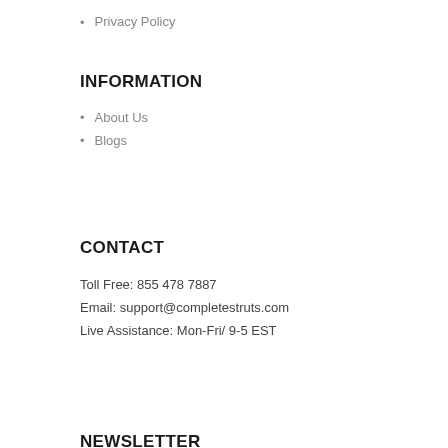Privacy Policy
INFORMATION
About Us
Blogs
CONTACT
Toll Free: 855 478 7887
Email: support@completestruts.com
Live Assistance: Mon-Fri/ 9-5 EST
NEWSLETTER